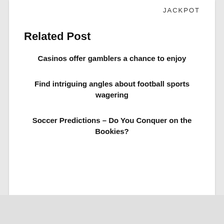JACKPOT
Related Post
Casinos offer gamblers a chance to enjoy
Find intriguing angles about football sports wagering
Soccer Predictions – Do You Conquer on the Bookies?